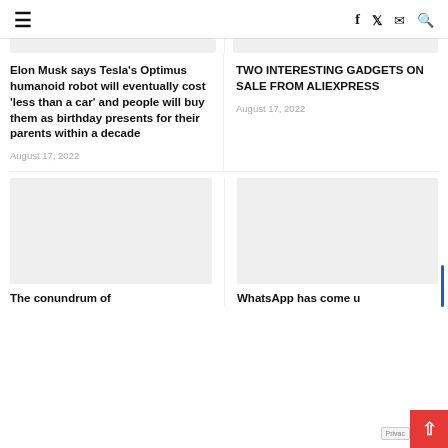≡  f  🐦  ✉  🔍
[Figure (photo): Gray placeholder image for article 1 (partially visible at top left)]
[Figure (photo): Gray placeholder image for article 2 (partially visible at top right)]
Elon Musk says Tesla’s Optimus humanoid robot will eventually cost ‘less than a car’ and people will buy them as birthday presents for their parents within a decade
August 17, 2022
TWO INTERESTING GADGETS ON SALE FROM ALIEXPRESS
August 17, 2022
[Figure (photo): Gray placeholder image for article 3 (bottom left)]
The conundrum of
[Figure (photo): Gray placeholder image for article 4 (bottom right)]
WhatsApp has come u